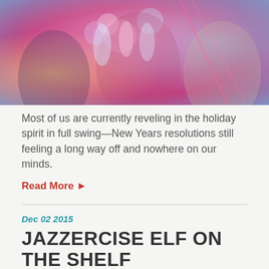[Figure (photo): Three women smiling and toasting with champagne glasses at a party with pink and blue lighting]
Most of us are currently reveling in the holiday spirit in full swing—New Years resolutions still feeling a long way off and nowhere on our minds.
Read More ▶
Dec 02 2015
JAZZERCISE ELF ON THE SHELF